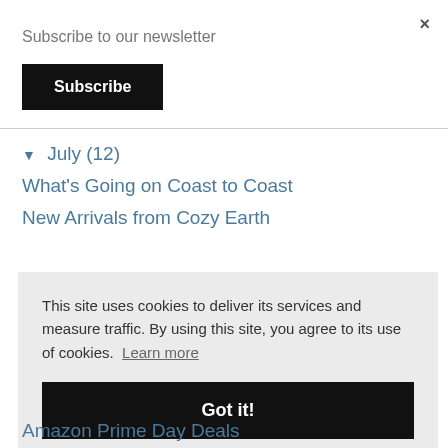×
Subscribe to our newsletter
Subscribe
▼ July (12)
What's Going on Coast to Coast
New Arrivals from Cozy Earth
This site uses cookies to deliver its services and measure traffic. By using this site, you agree to its use of cookies. Learn more
Got it!
Amazon Prime Day Deals